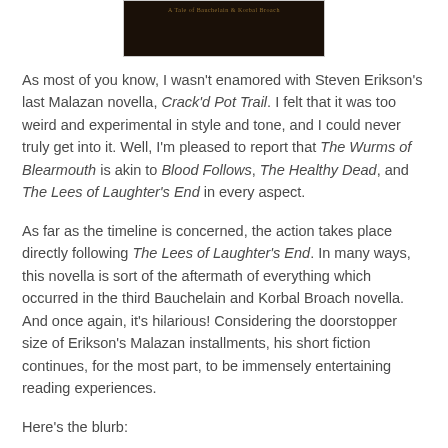[Figure (photo): Book cover image showing dark background with title text in golden/brown lettering]
As most of you know, I wasn't enamored with Steven Erikson's last Malazan novella, Crack'd Pot Trail. I felt that it was too weird and experimental in style and tone, and I could never truly get into it. Well, I'm pleased to report that The Wurms of Blearmouth is akin to Blood Follows, The Healthy Dead, and The Lees of Laughter's End in every aspect.
As far as the timeline is concerned, the action takes place directly following The Lees of Laughter's End. In many ways, this novella is sort of the aftermath of everything which occurred in the third Bauchelain and Korbal Broach novella. And once again, it's hilarious! Considering the doorstopper size of Erikson's Malazan installments, his short fiction continues, for the most part, to be immensely entertaining reading experiences.
Here's the blurb: